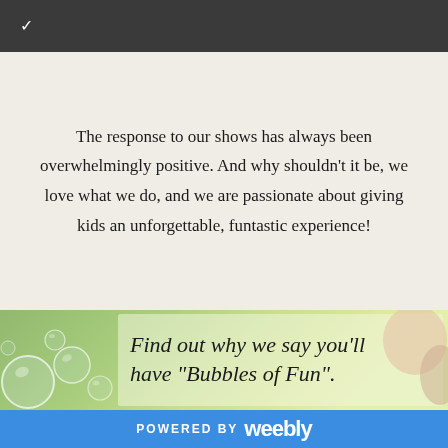Navigation bar with chevron/dropdown icon
The response to our shows has always been overwhelmingly positive. And why shouldn't it be, we love what we do, and we are passionate about giving kids an unforgettable, funtastic experience!
[Figure (photo): Outdoor photo with bubbles and a child, overlaid with a semi-transparent box containing text 'Find out why we say you'll have "Bubbles of Fun".']
POWERED BY weebly